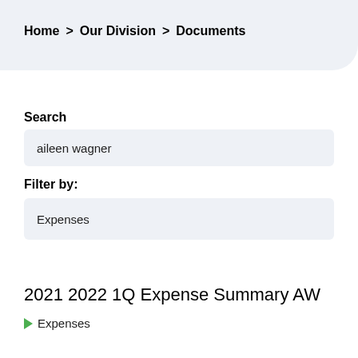Home > Our Division > Documents
Search
aileen wagner
Filter by:
Expenses
2021 2022 1Q Expense Summary AW
Expenses